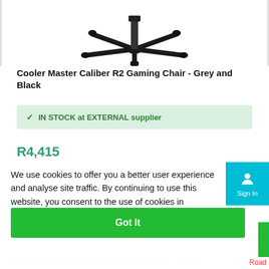[Figure (photo): Bottom portion of a gaming chair showing the star base with casters, viewed from below]
Cooler Master Caliber R2 Gaming Chair - Grey and Black
✓  IN STOCK at EXTERNAL supplier
R4,415
We use cookies to offer you a better user experience and analyse site traffic. By continuing to use this website, you consent to the use of cookies in accordance with our Privacy Policy  Learn More
Got It